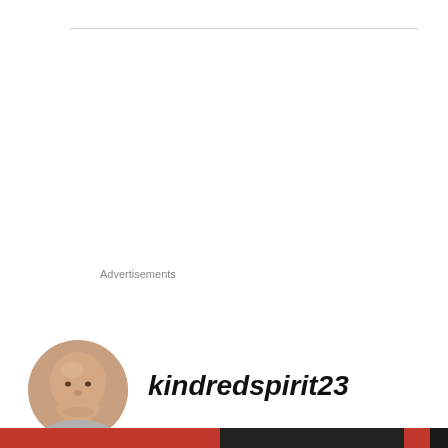Advertisements
[Figure (photo): Circular avatar photo of a bald man, brownish tones]
kindredspirit23
APRIL 19, 2013 AT 3:18 AM
Privacy & Cookies: This site uses cookies. By continuing to use this website, you agree to their use.
To find out more, including how to control cookies, see here: Cookie Policy
Close and accept